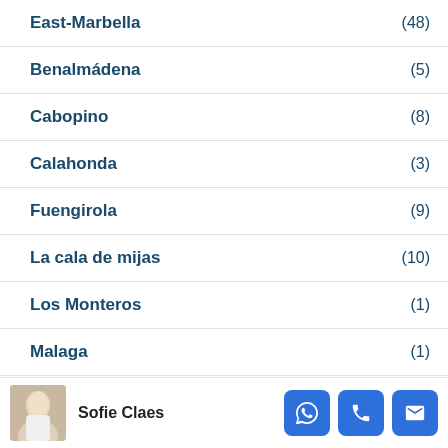East-Marbella (48)
Benalmádena (5)
Cabopino (8)
Calahonda (3)
Fuengirola (9)
La cala de mijas (10)
Los Monteros (1)
Malaga (1)
Mijas (12)
Sofie Claes